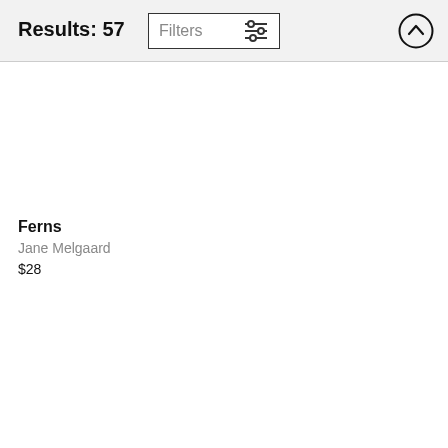Results: 57
[Figure (screenshot): Filters button with sliders icon]
[Figure (screenshot): Upload/scroll-to-top circular arrow button]
Ferns
Jane Melgaard
$28